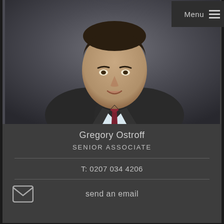[Figure (photo): Headshot photograph of Gregory Ostroff, a man in a dark suit with a burgundy/dark red tie and light blue shirt, against a dark grey background. He is smiling slightly and looking at the camera.]
Menu ☰
Gregory Ostroff
SENIOR ASSOCIATE
T: 0207 034 4206
send an email